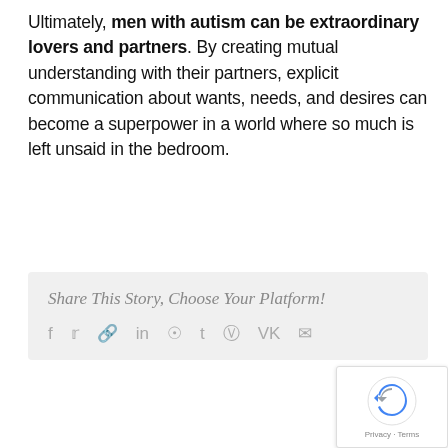Ultimately, men with autism can be extraordinary lovers and partners. By creating mutual understanding with their partners, explicit communication about wants, needs, and desires can become a superpower in a world where so much is left unsaid in the bedroom.
Share This Story, Choose Your Platform!
[Figure (other): reCAPTCHA logo with Privacy and Terms text]